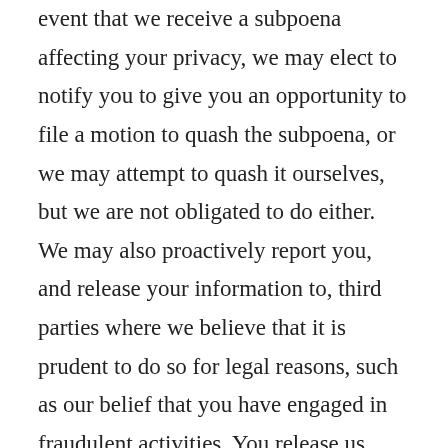event that we receive a subpoena affecting your privacy, we may elect to notify you to give you an opportunity to file a motion to quash the subpoena, or we may attempt to quash it ourselves, but we are not obligated to do either. We may also proactively report you, and release your information to, third parties where we believe that it is prudent to do so for legal reasons, such as our belief that you have engaged in fraudulent activities. You release us from any damages that may arise from or relate to the release of your information to a request from law enforcement agencies or private litigants.
Any passing on of personal data for legal purposes will only be done in compliance